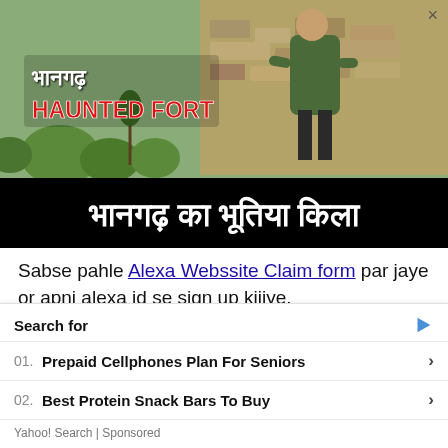[Figure (photo): Thumbnail image of Bhangarh Haunted Fort video — outdoor scene with man in green shirt, ruins background, overlaid Hindi and English text: भानगढ़ HAUNTED FORT and black banner with Hindi text भानगढ़ का भूतिया किला]
Sabse pahle Alexa Webssite Claim form par jaye or apni alexa id se sign up kijiye.
Enter a site URL  par click kijiye.
Search for
01.  Prepaid Cellphones Plan For Seniors
02.  Best Protein Snack Bars To Buy
Yahoo! Search | Sponsored